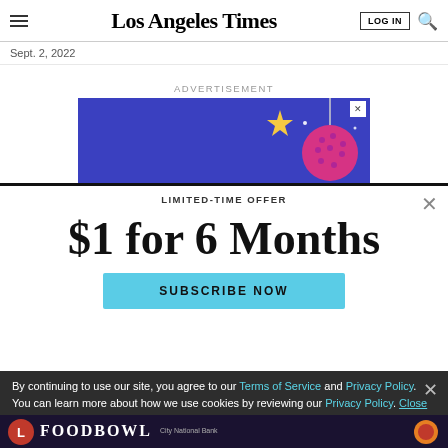Los Angeles Times — LOG IN
Sept. 2, 2022
ADVERTISEMENT
[Figure (illustration): Blue advertisement banner with a disco ball graphic and close (X) button]
$1 for 6 Months
LIMITED-TIME OFFER
SUBSCRIBE NOW
By continuing to use our site, you agree to our Terms of Service and Privacy Policy. You can learn more about how we use cookies by reviewing our Privacy Policy. Close